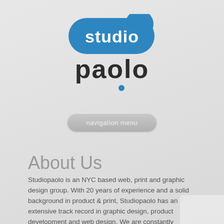[Figure (logo): Studio Paolo logo: blue rounded rectangle with 'studio' text in white, and 'paolo' in dark charcoal below with a blue dot accent under the 'l']
navigation menu
About Us
Studiopaolo is an NYC based web, print and graphic design group. With 20 years of experience and a solid background in product & print, Studiopaolo has an extensive track record in graphic design, product development and web design. We are constantly improving and enhancing our methods to stay up to date with the constantly changing technologies. Clients from around the